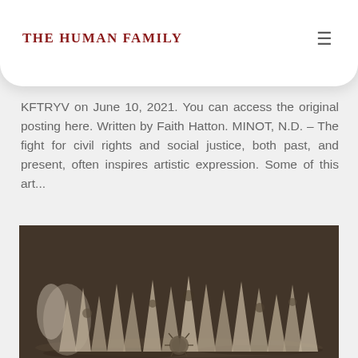The Human Family
KFTRYV on June 10, 2021. You can access the original posting here. Written by Faith Hatton. MINOT, N.D. – The fight for civil rights and social justice, both past, and present, often inspires artistic expression. Some of this art...
[Figure (photo): Black and white / sepia-toned photograph of many small flags or fabric pieces on sticks arranged in water, with decorative patterns visible on some flags.]